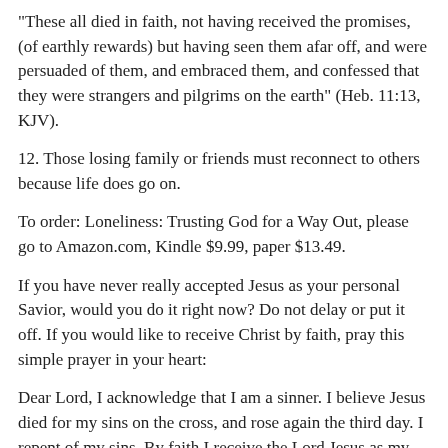“These all died in faith, not having received the promises, (of earthly rewards) but having seen them afar off, and were persuaded of them, and embraced them, and confessed that they were strangers and pilgrims on the earth” (Heb. 11:13, KJV).
12. Those losing family or friends must reconnect to others because life does go on.
To order: Loneliness: Trusting God for a Way Out, please go to Amazon.com, Kindle $9.99, paper $13.49.
If you have never really accepted Jesus as your personal Savior, would you do it right now? Do not delay or put it off. If you would like to receive Christ by faith, pray this simple prayer in your heart:
Dear Lord, I acknowledge that I am a sinner. I believe Jesus died for my sins on the cross, and rose again the third day. I repent of my sins. By faith I receive the Lord Jesus as my Savior. You promised to save me, and I believe You, because You are God and cannot lie. I believe right now that the Lord Jesus is my